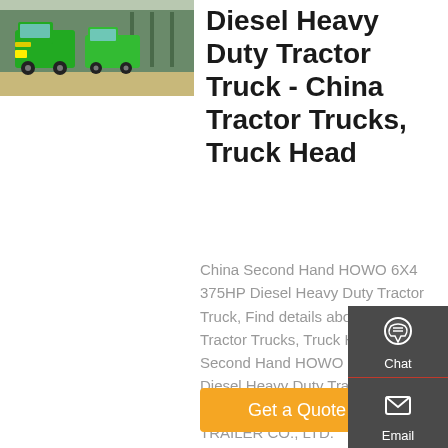[Figure (photo): Green heavy duty tractor trucks parked outside a facility]
Diesel Heavy Duty Tractor Truck - China Tractor Trucks, Truck Head
China Second Hand HOWO 6X4 375HP Diesel Heavy Duty Tractor Truck, Find details about China Tractor Trucks, Truck Head from Second Hand HOWO 6X4 375HP Diesel Heavy Duty Tractor Truck - SHANDONG CHENGDA TRUCK TRAILER CO., LTD.
[Figure (infographic): Sidebar with Chat, Email, Contact, and Top navigation icons on dark grey background]